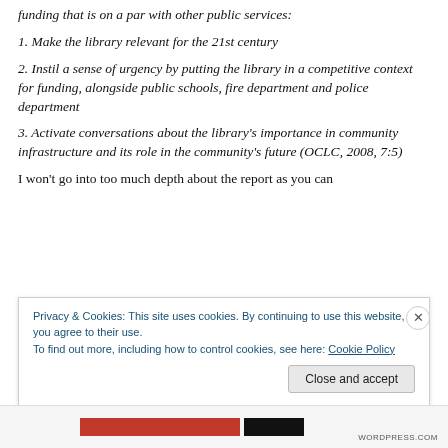funding that is on a par with other public services:
1. Make the library relevant for the 21st century
2. Instil a sense of urgency by putting the library in a competitive context for funding, alongside public schools, fire department and police department
3. Activate conversations about the library’s importance in community infrastructure and its role in the community’s future (OCLC, 2008, 7:5)
I won’t go into too much depth about the report as you can
Privacy & Cookies: This site uses cookies. By continuing to use this website, you agree to their use.
To find out more, including how to control cookies, see here: Cookie Policy
Close and accept